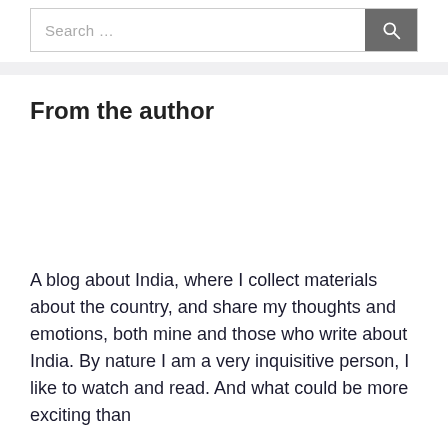[Figure (screenshot): Search bar with text field showing 'Search …' placeholder and a dark grey search button with magnifying glass icon]
From the author
A blog about India, where I collect materials about the country, and share my thoughts and emotions, both mine and those who write about India. By nature I am a very inquisitive person, I like to watch and read. And what could be more exciting than